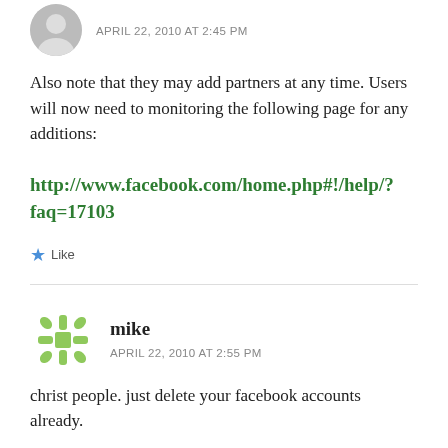APRIL 22, 2010 AT 2:45 PM
Also note that they may add partners at any time. Users will now need to monitoring the following page for any additions:
http://www.facebook.com/home.php#!/help/?faq=17103
★ Like
mike
APRIL 22, 2010 AT 2:55 PM
christ people. just delete your facebook accounts already.